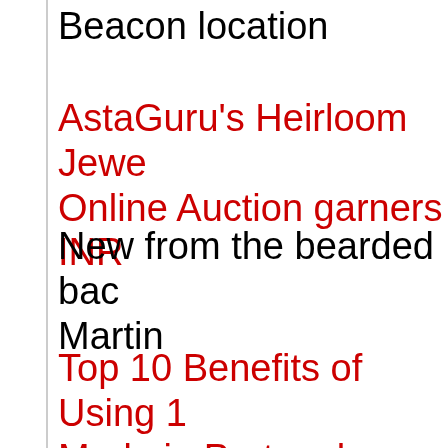Beacon location
AstaGuru's Heirloom Jewe... Online Auction garners INR...
New from the bearded bac... Martin
Top 10 Benefits of Using 1... Made in Portugal
Basic Things You Need To... Computer